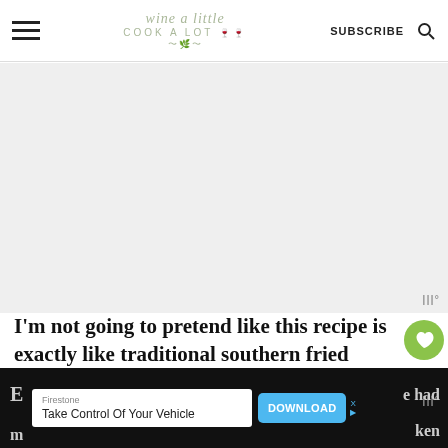wine a little cook a lot | SUBSCRIBE
[Figure (screenshot): Website screenshot with blog header showing 'wine a little cook a lot' logo, navigation hamburger menu, SUBSCRIBE link, and search icon. Below is a large gray placeholder image area with a Wunderkind watermark logo.]
I'm not going to pretend like this recipe is exactly like traditional southern fried chicken.
[Figure (screenshot): Social sidebar with green heart/like button showing count of 3, and a share button]
[Figure (screenshot): Advertisement bar at bottom: Firestone 'Take Control Of Your Vehicle' with blue DOWNLOAD button]